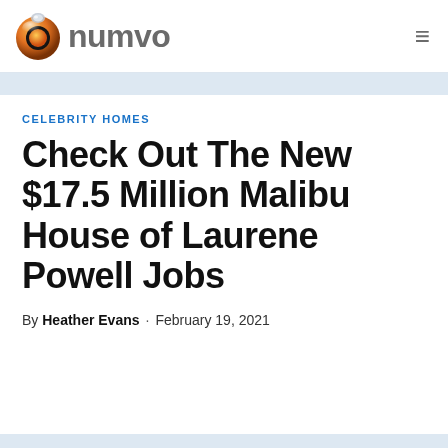numvo
CELEBRITY HOMES
Check Out The New $17.5 Million Malibu House of Laurene Powell Jobs
By Heather Evans · February 19, 2021